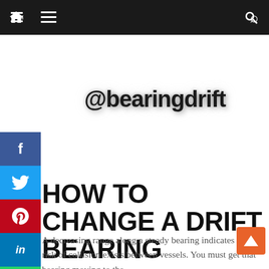nav bar with home, menu, search icons
[Figure (screenshot): Social media sharing sidebar with Facebook (f), Twitter (bird), Pinterest (p), LinkedIn (in), WhatsApp, and Email icons stacked vertically on the left side]
@bearingdrift
HOW TO CHANGE A DRIFT BEARING
A decreasing range along a steady bearing indicates that a risk of collision exists between vessels. You must get that bearing moving to the